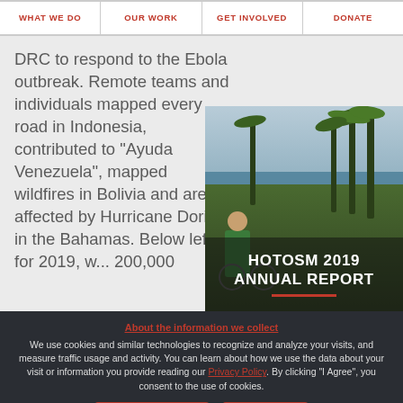WHAT WE DO | OUR WORK | GET INVOLVED | DONATE
DRC to respond to the Ebola outbreak. Remote teams and individuals mapped every road in Indonesia, contributed to “Ayuda Venezuela”, mapped wildfires in Bolivia and areas affected by Hurricane Dorian in the Bahamas. Below left for 2019, w... 200,000
[Figure (photo): Photo of a person on a bicycle near palm trees with text overlay reading HOTOSM 2019 ANNUAL REPORT and a red underline]
About the information we collect
We use cookies and similar technologies to recognize and analyze your visits, and measure traffic usage and activity. You can learn about how we use the data about your visit or information you provide reading our Privacy Policy. By clicking "I Agree", you consent to the use of cookies.
I DO NOT AGREE   I AGREE